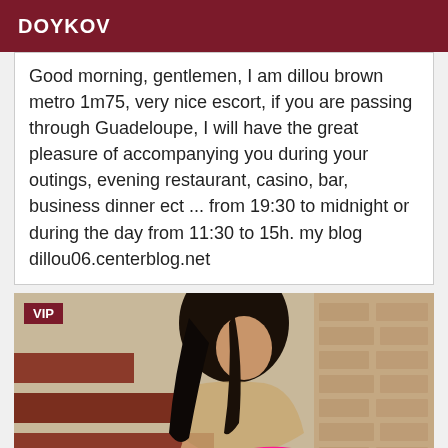DOYKOV
Good morning, gentlemen, I am dillou brown metro 1m75, very nice escort, if you are passing through Guadeloupe, I will have the great pleasure of accompanying you during your outings, evening restaurant, casino, bar, business dinner ect ... from 19:30 to midnight or during the day from 11:30 to 15h. my blog dillou06.centerblog.net
[Figure (photo): Woman posing indoors near brick wall and wooden railing, wearing pink bikini bottom and sheer top. VIP badge in top left corner.]